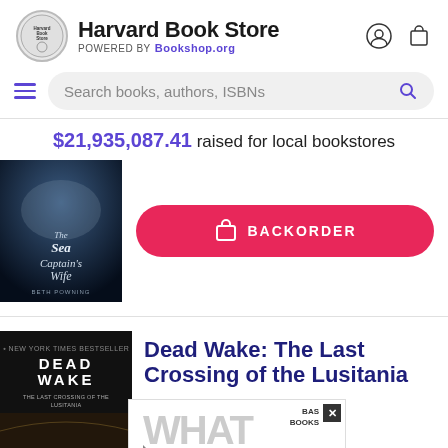[Figure (logo): Harvard Book Store circular logo with store name]
Harvard Book Store
POWERED BY Bookshop.org
$21,935,087.41 raised for local bookstores
[Figure (photo): Book cover: The Sea Captain's Wife by Beth Powning]
BACKORDER
[Figure (photo): Book cover: Dead Wake by Erik Larson]
Dead Wake: The Last Crossing of the Lusitania
[Figure (photo): Advertisement overlay: What We Owe, Basic Books, with close button]